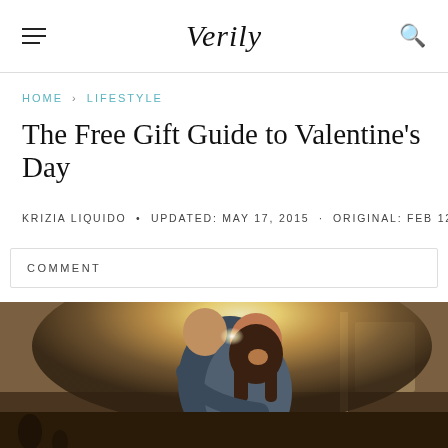Verily
HOME > LIFESTYLE
The Free Gift Guide to Valentine's Day
KRIZIA LIQUIDO • UPDATED: MAY 17, 2015 · ORIGINAL: FEB 12, 2014
COMMENT
[Figure (photo): A couple embracing outdoors with bright sunlight/sunflare behind them; man hugging woman from behind, both smiling, warm golden light]